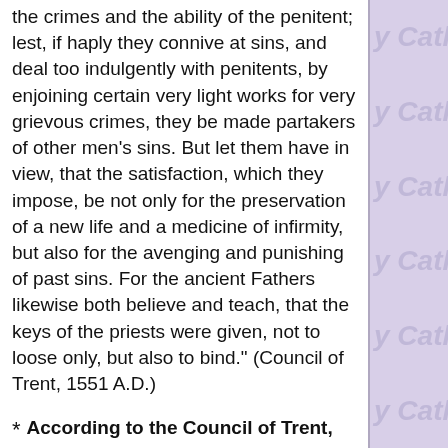the crimes and the ability of the penitent; lest, if haply they connive at sins, and deal too indulgently with penitents, by enjoining certain very light works for very grievous crimes, they be made partakers of other men's sins. But let them have in view, that the satisfaction, which they impose, be not only for the preservation of a new life and a medicine of infirmity, but also for the avenging and punishing of past sins. For the ancient Fathers likewise both believe and teach, that the keys of the priests were given, not to loose only, but also to bind." (Council of Trent, 1551 A.D.)
* According to the Council of Trent, there are two things particularly required for satisfaction: "[T]hat he who satisfies be in a state of grace, the friend of God" and "that the works performed be such as are of their own